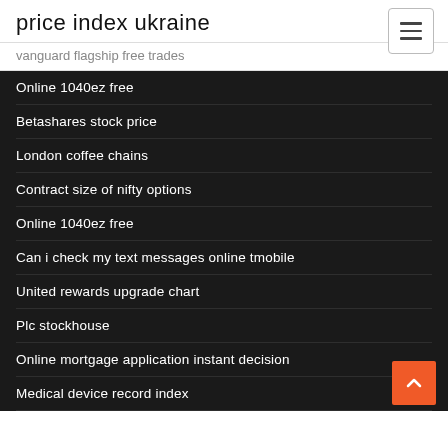price index ukraine
vanguard flagship free trades
Online 1040ez free
Betashares stock price
London coffee chains
Contract size of nifty options
Online 1040ez free
Can i check my text messages online tmobile
United rewards upgrade chart
Plc stockhouse
Online mortgage application instant decision
Medical device record index